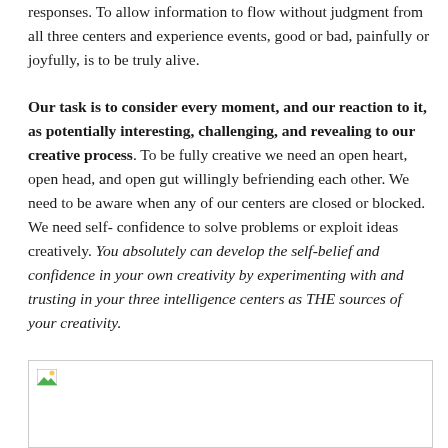responses. To allow information to flow without judgment from all three centers and experience events, good or bad, painfully or joyfully, is to be truly alive.
Our task is to consider every moment, and our reaction to it, as potentially interesting, challenging, and revealing to our creative process. To be fully creative we need an open heart, open head, and open gut willingly befriending each other. We need to be aware when any of our centers are closed or blocked. We need self-confidence to solve problems or exploit ideas creatively. You absolutely can develop the self-belief and confidence in your own creativity by experimenting with and trusting in your three intelligence centers as THE sources of your creativity.
[Figure (photo): Placeholder image (broken image icon visible in top-left corner) within a bordered rectangle at the bottom of the page.]